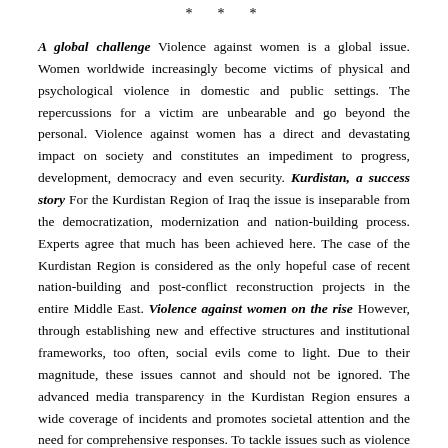* * *
A global challenge Violence against women is a global issue. Women worldwide increasingly become victims of physical and psychological violence in domestic and public settings. The repercussions for a victim are unbearable and go beyond the personal. Violence against women has a direct and devastating impact on society and constitutes an impediment to progress, development, democracy and even security. Kurdistan, a success story For the Kurdistan Region of Iraq the issue is inseparable from the democratization, modernization and nation-building process. Experts agree that much has been achieved here. The case of the Kurdistan Region is considered as the only hopeful case of recent nation-building and post-conflict reconstruction projects in the entire Middle East. Violence against women on the rise However, through establishing new and effective structures and institutional frameworks, too often, social evils come to light. Due to their magnitude, these issues cannot and should not be ignored. The advanced media transparency in the Kurdistan Region ensures a wide coverage of incidents and promotes societal attention and the need for comprehensive responses. To tackle issues such as violence against women thus becomes mandatory and part of any successful nation-building process. This is a task, which has been given special attention by the Kurdistan Regional Government and local NGOs, with a proud record of success. However, the problem is acute and on-going. Data shows that